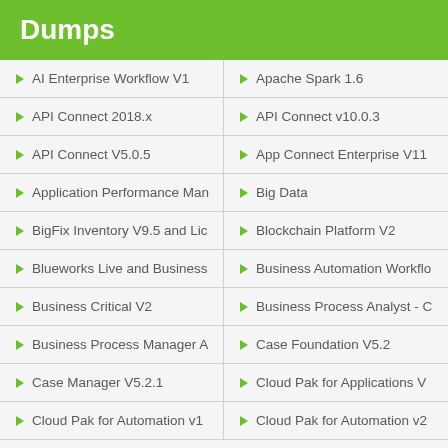Dumps
AI Enterprise Workflow V1
Apache Spark 1.6
API Connect 2018.x
API Connect v10.0.3
API Connect V5.0.5
App Connect Enterprise V11
Application Performance Man
Big Data
BigFix Inventory V9.5 and Lic
Blockchain Platform V2
Blueworks Live and Business
Business Automation Workflo
Business Critical V2
Business Process Analyst - C
Business Process Manager A
Case Foundation V5.2
Case Manager V5.2.1
Cloud Pak for Applications V
Cloud Pak for Automation v1
Cloud Pak for Automation v2